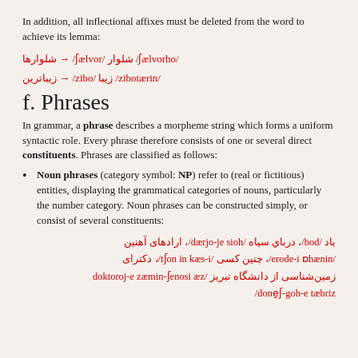In addition, all inflectional affixes must be deleted from the word to achieve its lemma:
f. Phrases
In grammar, a phrase describes a morpheme string which forms a uniform syntactic role. Every phrase therefore consists of one or several direct constituents. Phrases are classified as follows:
Noun phrases (category symbol: NP) refer to (real or fictitious) entities, displaying the grammatical categories of nouns, particularly the number category. Noun phrases can be constructed simply, or consist of several constituents:
باد /bod/، درباي سياه /dærjo-je sioh/، ارادهای آهنین /erode-i ɒhænin/، چنین کسی /tʃon in kæs-i/، دکترای زمین‌شناسی از دانشگاه تبریز /doktoroj-e zæmin-ʃenosi æz done̱ʃ-goh-e tæbriz/